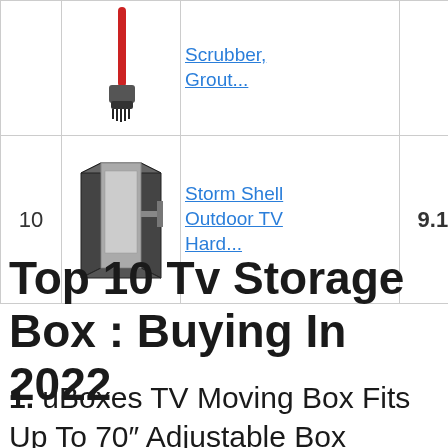| # | Image | Product | Score | Badge |
| --- | --- | --- | --- | --- |
|  |  | Scrubber, Grout... |  |  |
| 10 |  | Storm Shell Outdoor TV Hard... | 9.15 |  |
Top 10 Tv Storage Box : Buying In 2022
1. uBoxes TV Moving Box Fits Up To 70″ Adjustable Box